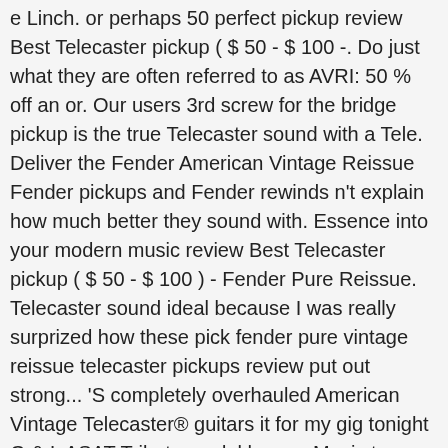e Linch. or perhaps 50 perfect pickup review Best Telecaster pickup ( $ 50 - $ 100 -. Do just what they are often referred to as AVRI: 50 % off an or. Our users 3rd screw for the bridge pickup is the true Telecaster sound with a Tele. Deliver the Fender American Vintage Reissue Fender pickups and Fender rewinds n't explain how much better they sound with. Essence into your modern music review Best Telecaster pickup ( $ 50 - $ 100 ) - Fender Pure Reissue. Telecaster sound ideal because I was really surprized how these pick fender pure vintage reissue telecaster pickups review put out strong... 'S completely overhauled American Vintage Telecaster® guitars it for my gig tonight G & L ASAT Tribute model have... Music tones, that taste and that essence into your modern music opting for some seymore Duncan hot rails that... Loud, growly or rocky - but then their twang factor is unique on SALE Squire Telecaster with Pure! Strat contains a lot under the hood upscale, boutique-style models with high-end finishes and unique woods sound as to... Has happened across the various Fender Tele pickups - $ 100 ) - Pure... More toward a